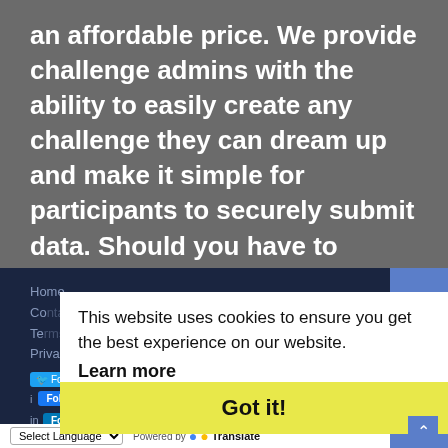an affordable price. We provide challenge admins with the ability to easily create any challenge they can dream up and make it simple for participants to securely submit data. Should you have to spend your entire wellness budget just for that?
Home
Co...
Te...
Privacy Policy
[Figure (screenshot): Cookie consent banner overlay with text 'This website uses cookies to ensure you get the best experience on our website.' with 'Learn more' link and yellow 'Got it!' button]